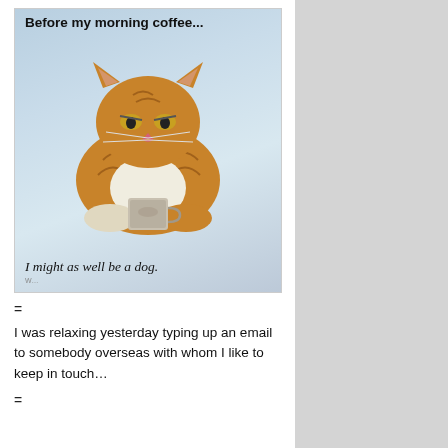[Figure (illustration): Illustration of a grumpy orange tabby cat holding a coffee mug, with text 'Before my morning coffee...' at top and 'I might as well be a dog.' at bottom. Humorous cat meme image.]
=
I was relaxing yesterday typing up an email to somebody overseas with whom I like to keep in touch…
=